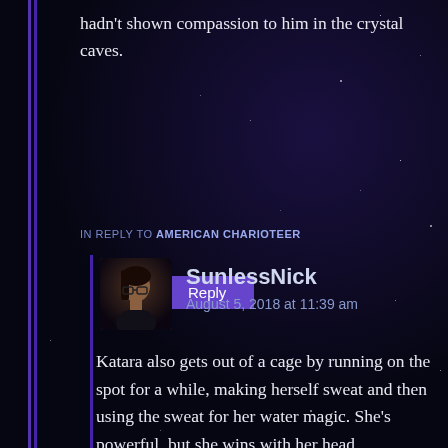hadn't shown compassion to him in the crystal caves.
Reply
IN REPLY TO AMERICAN CHARIOTEER
[Figure (photo): Avatar photo of user SunlessNick showing a person with glasses]
SunlessNick
August 5, 2018 at 11:39 am
Katara also gets out of a cage by running on the spot for a while, making herself sweat and then using the sweat for her water magic. She's powerful, but she wins with her head.